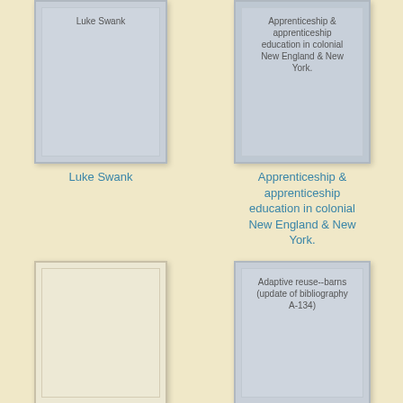[Figure (illustration): Book cover placeholder for Luke Swank, gray background with title text at top]
Luke Swank
[Figure (illustration): Book cover placeholder for Apprenticeship & apprenticeship education in colonial New England & New York., gray background with title text at top]
Apprenticeship & apprenticeship education in colonial New England & New York.
[Figure (illustration): Book cover placeholder, cream/beige background, no visible title]
[Figure (illustration): Book cover placeholder for Adaptive reuse--barns (update of bibliography A-134), gray background with title text]
Adaptive reuse--barns (update of bibliography A-134)